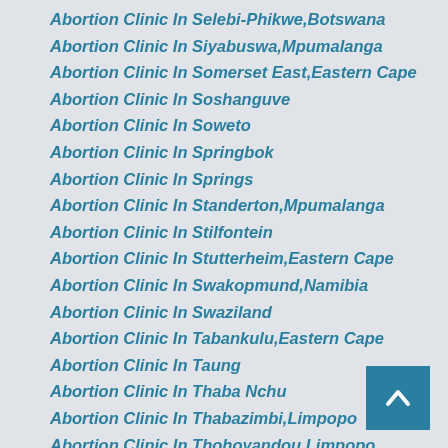Abortion Clinic In Selebi-Phikwe,Botswana
Abortion Clinic In Siyabuswa,Mpumalanga
Abortion Clinic In Somerset East,Eastern Cape
Abortion Clinic In Soshanguve
Abortion Clinic In Soweto
Abortion Clinic In Springbok
Abortion Clinic In Springs
Abortion Clinic In Standerton,Mpumalanga
Abortion Clinic In Stilfontein
Abortion Clinic In Stutterheim,Eastern Cape
Abortion Clinic In Swakopmund,Namibia
Abortion Clinic In Swaziland
Abortion Clinic In Tabankulu,Eastern Cape
Abortion Clinic In Taung
Abortion Clinic In Thaba Nchu
Abortion Clinic In Thabazimbi,Limpopo
Abortion Clinic In Thohoyandou,Limpopo
Abortion Clinic In Tzaneen,Limpopo
Abortion Clinic In Uitenhage,Eastern Cape